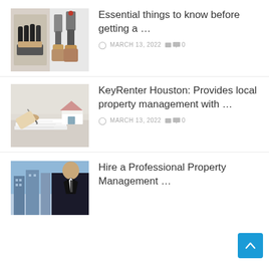[Figure (photo): Two-panel image showing prosthetic hand on left and prosthetic legs on right]
Essential things to know before getting a …
MARCH 13, 2022  0
[Figure (photo): Person signing documents with a small house model in background]
KeyRenter Houston: Provides local property management with …
MARCH 13, 2022  0
[Figure (photo): Man in suit with city buildings in background]
Hire a Professional Property Management …